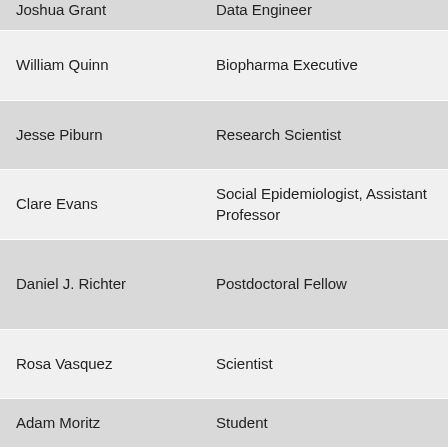| Name | Role | Organization |
| --- | --- | --- |
| Joshua Grant | Data Engineer | Lab |
| William Quinn | Biopharma Executive | Sunesis Pharmac… |
| Jesse Piburn | Research Scientist | Oak Ridge Laborato… |
| Clare Evans | Social Epidemiologist, Assistant Professor | Universi… |
| Daniel J. Richter | Postdoctoral Fellow | Institute Evolutio… Barcelo… |
| Rosa Vasquez | Scientist | Universi… Michigan… |
| Adam Moritz | Student | New Yor… |
| Samarth Mishra | PhD student | Boston U… |
| Christine Tataru | Graduate Student | Oregon S… Universi… |